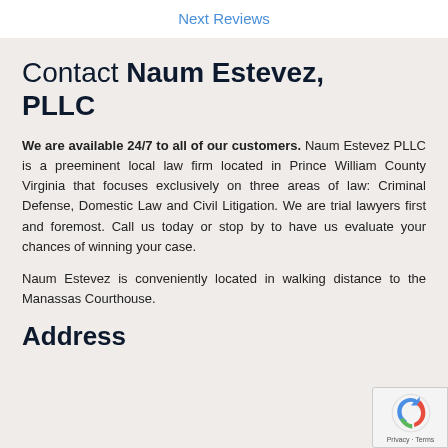Next Reviews
Contact Naum Estevez, PLLC
We are available 24/7 to all of our customers. Naum Estevez PLLC is a preeminent local law firm located in Prince William County Virginia that focuses exclusively on three areas of law: Criminal Defense, Domestic Law and Civil Litigation. We are trial lawyers first and foremost. Call us today or stop by to have us evaluate your chances of winning your case.
Naum Estevez is conveniently located in walking distance to the Manassas Courthouse.
Address